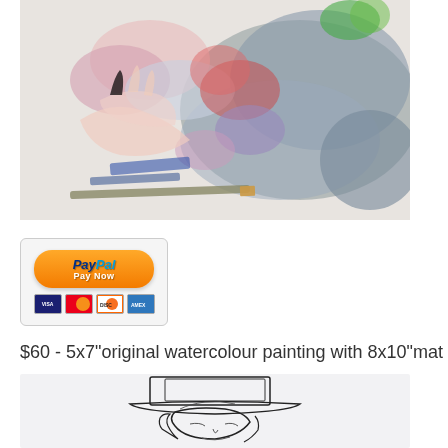[Figure (illustration): Watercolour painting of hands, artist signing artwork, colorful with pink, blue, red and grey tones]
[Figure (logo): PayPal Pay Now button with credit card icons (Visa, Mastercard, Discover, American Express)]
$60 - 5x7"original watercolour painting with 8x10"mat
[Figure (illustration): Pencil sketch/line drawing of a person wearing a hat, loose gestural sketch style]